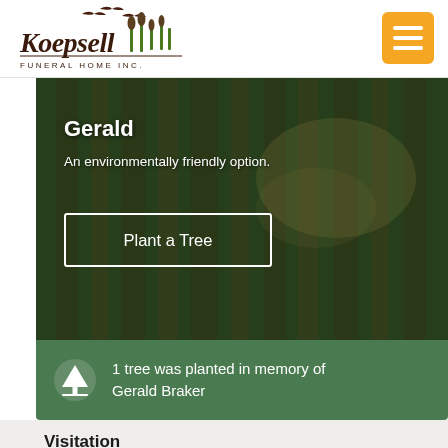[Figure (logo): Koepsell Funeral Home Inc logo with birds and cattails]
[Figure (other): Hamburger menu icon button with orange background]
[Figure (photo): Forest background photo with tall trees and green foliage]
Gerald
An environmentally friendly option.
Plant a Tree
1 tree was planted in memory of Gerald Braker
Visitation
Koepsell-Murray Funeral Home-Beaver D...